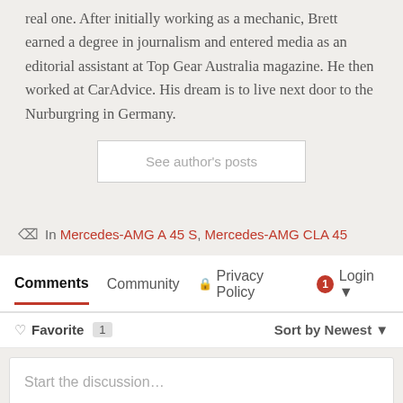real one. After initially working as a mechanic, Brett earned a degree in journalism and entered media as an editorial assistant at Top Gear Australia magazine. He then worked at CarAdvice. His dream is to live next door to the Nurburgring in Germany.
See author's posts
In Mercedes-AMG A 45 S, Mercedes-AMG CLA 45
Comments  Community  Privacy Policy  1  Login
Favorite 1   Sort by Newest
Start the discussion...
LOG IN WITH